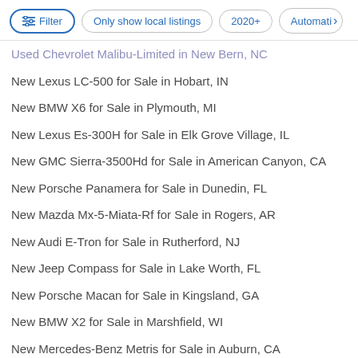Filter | Only show local listings | 2020+ | Automatic
Used Chevrolet Malibu-Limited in New Bern, NC
New Lexus LC-500 for Sale in Hobart, IN
New BMW X6 for Sale in Plymouth, MI
New Lexus Es-300H for Sale in Elk Grove Village, IL
New GMC Sierra-3500Hd for Sale in American Canyon, CA
New Porsche Panamera for Sale in Dunedin, FL
New Mazda Mx-5-Miata-Rf for Sale in Rogers, AR
New Audi E-Tron for Sale in Rutherford, NJ
New Jeep Compass for Sale in Lake Worth, FL
New Porsche Macan for Sale in Kingsland, GA
New BMW X2 for Sale in Marshfield, WI
New Mercedes-Benz Metris for Sale in Auburn, CA
New Toyota Highlander for Sale in Woodstock, IL
New Porsche Cayenne for Sale in Freeport, IL
New Audi E-Tron for Sale in Henderson, NV
Used Volkswagen Golf-Alltrack in Grayslake, IL
New Toyota Highlander for Sale in Wixom, MI